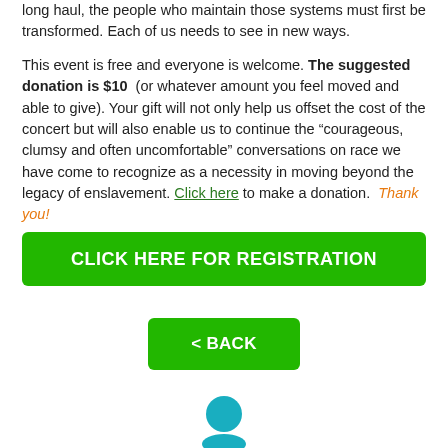long haul, the people who maintain those systems must first be transformed. Each of us needs to see in new ways.
This event is free and everyone is welcome. The suggested donation is $10 (or whatever amount you feel moved and able to give). Your gift will not only help us offset the cost of the concert but will also enable us to continue the "courageous, clumsy and often uncomfortable" conversations on race we have come to recognize as a necessity in moving beyond the legacy of enslavement. Click here to make a donation. Thank you!
CLICK HERE FOR REGISTRATION
< BACK